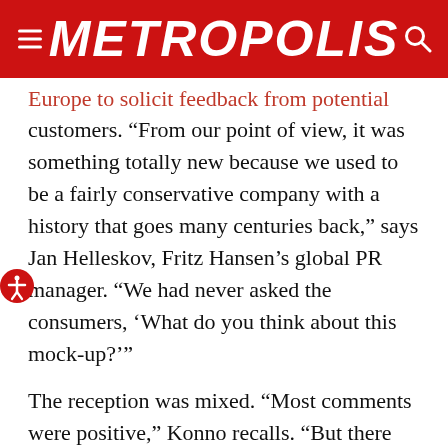METROPOLIS
Europe to solicit feedback from potential customers. “From our point of view, it was something totally new because we used to be a fairly conservative company with a history that goes many centuries back,” says Jan Helleskov, Fritz Hansen’s global PR manager. “We had never asked the consumers, ‘What do you think about this mock-up?’”
The reception was mixed. “Most comments were positive,” Konno recalls. “But there